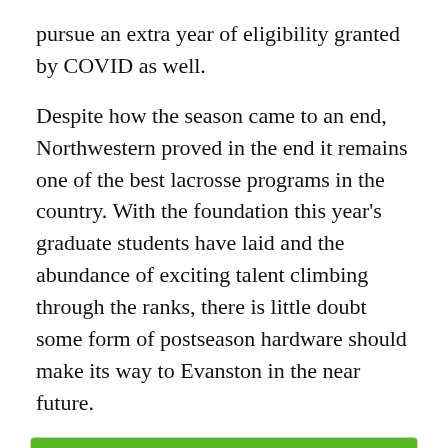pursue an extra year of eligibility granted by COVID as well.
Despite how the season came to an end, Northwestern proved in the end it remains one of the best lacrosse programs in the country. With the foundation this year's graduate students have laid and the abundance of exciting talent climbing through the ranks, there is little doubt some form of postseason hardware should make its way to Evanston in the near future.
[Figure (infographic): DraftKings Sportsbook advertisement widget with green header containing 'Bet Now!' button and DraftKings Sportsbook logo, a team row showing Northwestern Wildcats with purple NW circle logo and bold team name, followed by a white content area below.]